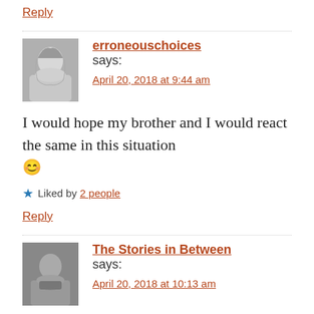Reply
erroneouschoices says:
April 20, 2018 at 9:44 am
I would hope my brother and I would react the same in this situation 😊
Liked by 2 people
Reply
The Stories in Between says:
April 20, 2018 at 10:13 am